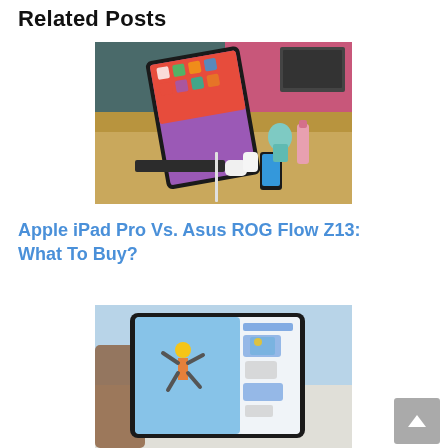Related Posts
[Figure (photo): Apple iPad Pro on a wooden desk with accessories including Apple Pencil, AirPods, keyboard, and a smartphone, with colorful decorative items and a monitor in the background]
Apple iPad Pro Vs. Asus ROG Flow Z13: What To Buy?
[Figure (photo): Person holding an iPad showing a photo editing app with a jumping figure, with a chat interface visible on a phone beside it]